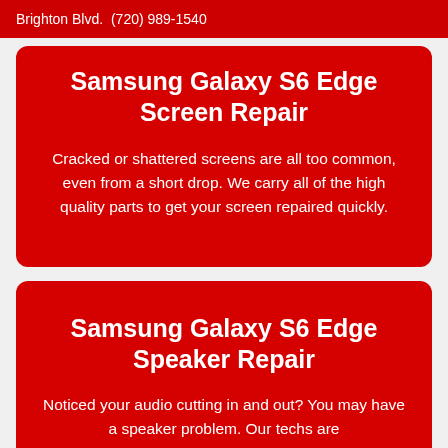Brighton Blvd.  (720) 989-1540
Samsung Galaxy S6 Edge Screen Repair
Cracked or shattered screens are all too common, even from a short drop. We carry all of the high quality parts to get your screen repaired quickly.
Samsung Galaxy S6 Edge Speaker Repair
Noticed your audio cutting in and out? You may have a speaker problem. Our techs are